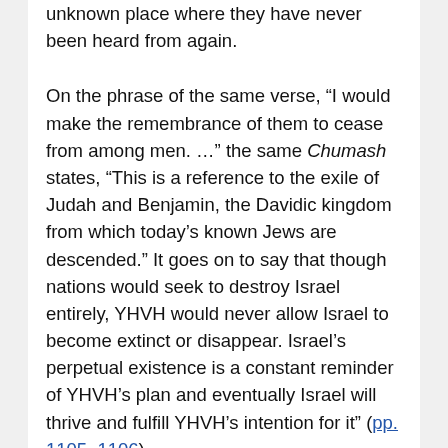unknown place where they have never been heard from again.
On the phrase of the same verse, “I would make the remembrance of them to cease from among men. …” the same Chumash states, “This is a reference to the exile of Judah and Benjamin, the Davidic kingdom from which today’s known Jews are descended.” It goes on to say that though nations would seek to destroy Israel entirely, YHVH would never allow Israel to become extinct or disappear. Israel’s perpetual existence is a constant reminder of YHVH’s plan and eventually Israel will thrive and fulfill YHVH’s intention for it” (pp. 1105–1106).
Nineteenth orthodox Jewish scholar S. R. Hirsch in his commentary on the same verse translates the phrase, “I would scatter them into the corners …” as, “I would relegate them into a corner …,” and then says that the Hebrew here refers to the “extreme end of a surface, the side or corner ….” He, too, relates this fate to the Ten Tribes who would be scattered “to some distant corner of the world, where, left entirely to themselves, they could